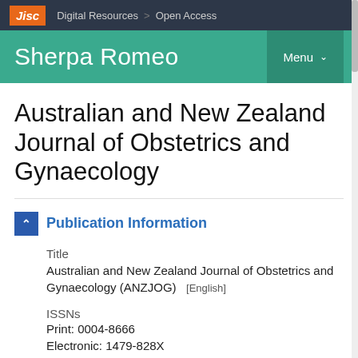Jisc  Digital Resources  >  Open Access
Sherpa Romeo  Menu
Australian and New Zealand Journal of Obstetrics and Gynaecology
Publication Information
Title
Australian and New Zealand Journal of Obstetrics and Gynaecology (ANZJOG)  [English]
ISSNs
Print: 0004-8666
Electronic: 1479-828X